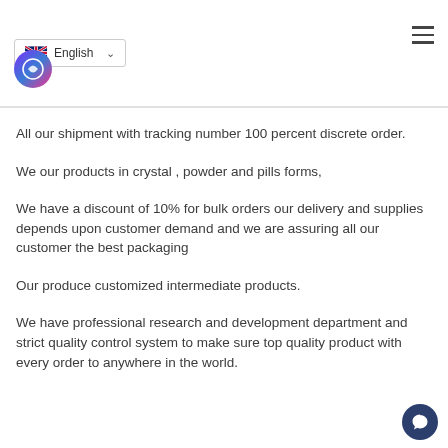English — hamburger menu
All our shipment with tracking number 100 percent discrete order.
We our products in crystal , powder and pills forms,
We have a discount of 10% for bulk orders our delivery and supplies depends upon customer demand and we are assuring all our customer the best packaging
Our produce customized intermediate products.
We have professional research and development department and strict quality control system to make sure top quality product with every order to anywhere in the world.